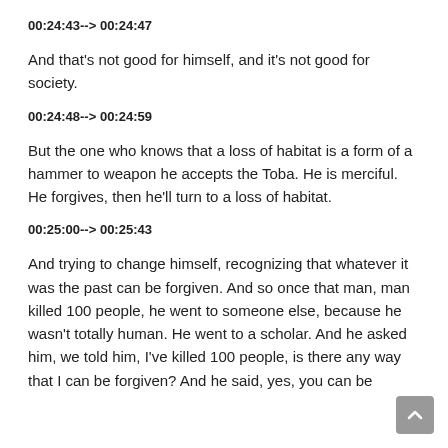00:24:43--> 00:24:47
And that's not good for himself, and it's not good for society.
00:24:48--> 00:24:59
But the one who knows that a loss of habitat is a form of a hammer to weapon he accepts the Toba. He is merciful. He forgives, then he'll turn to a loss of habitat.
00:25:00--> 00:25:43
And trying to change himself, recognizing that whatever it was the past can be forgiven. And so once that man, man killed 100 people, he went to someone else, because he wasn't totally human. He went to a scholar. And he asked him, we told him, I've killed 100 people, is there any way that I can be forgiven? And he said, yes, you can be